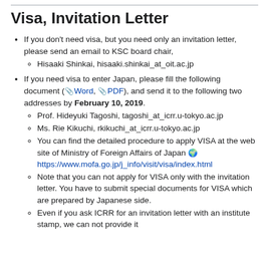Visa, Invitation Letter
If you don't need visa, but you need only an invitation letter, please send an email to KSC board chair,
Hisaaki Shinkai, hisaaki.shinkai_at_oit.ac.jp
If you need visa to enter Japan, please fill the following document ( Word, PDF), and send it to the following two addresses by February 10, 2019.
Prof. Hideyuki Tagoshi, tagoshi_at_icrr.u-tokyo.ac.jp
Ms. Rie Kikuchi, rkikuchi_at_icrr.u-tokyo.ac.jp
You can find the detailed procedure to apply VISA at the web site of Ministry of Foreign Affairs of Japan 🌍 https://www.mofa.go.jp/j_info/visit/visa/index.html
Note that you can not apply for VISA only with the invitation letter. You have to submit special documents for VISA which are prepared by Japanese side.
Even if you ask ICRR for an invitation letter with an institute stamp, we can not provide it